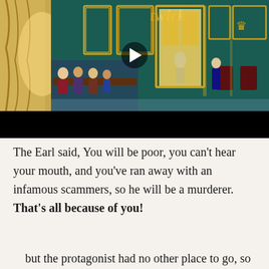[Figure (illustration): Animated illustration showing an ornate interior scene with figures seated at a table on the left, and elaborate gold-framed panels and doorways in a teal/green room. A play button overlay is visible in the center, indicating a video. Decorative gold architectural elements fill the background.]
The Earl said, You will be poor, you can't hear your mouth, and you've ran away with an infamous scammers, so he will be a murderer. That's all because of you!
but the protagonist had no other place to go, so he